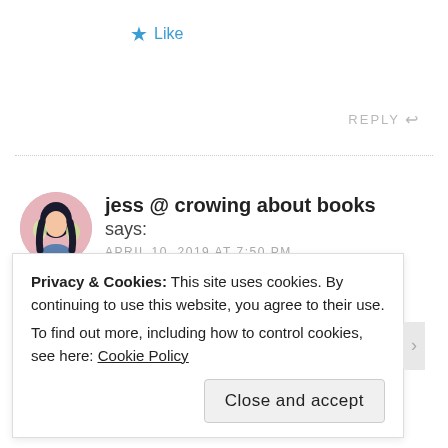★ Like
REPLY ↩
[Figure (illustration): Circular avatar of a woman with dark hair, holding flowers, illustrated style, pink background]
jess @ crowing about books says:
APRIL 10, 2019 AT 7:50 PM
It's the tattoo I want most 🤭
★ Liked by 1 person
Privacy & Cookies: This site uses cookies. By continuing to use this website, you agree to their use.
To find out more, including how to control cookies, see here: Cookie Policy
Close and accept